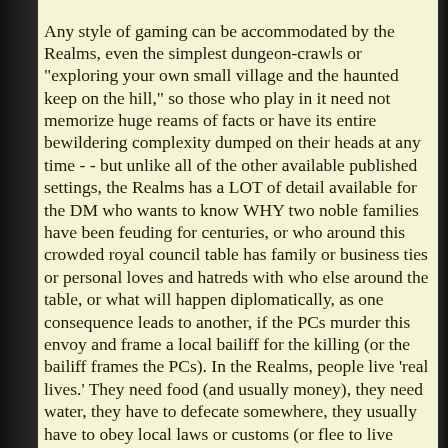Any style of gaming can be accommodated by the Realms, even the simplest dungeon-crawls or "exploring your own small village and the haunted keep on the hill," so those who play in it need not memorize huge reams of facts or have its entire bewildering complexity dumped on their heads at any time - - but unlike all of the other available published settings, the Realms has a LOT of detail available for the DM who wants to know WHY two noble families have been feuding for centuries, or who around this crowded royal council table has family or business ties or personal loves and hatreds with who else around the table, or what will happen diplomatically, as one consequence leads to another, if the PCs murder this envoy and frame a local bailiff for the killing (or the bailiff frames the PCs). In the Realms, people live 'real lives.' They need food (and usually money), they need water, they have to defecate somewhere, they usually have to obey local laws or customs (or flee to live "outlaw"), and almost all of that has been covered